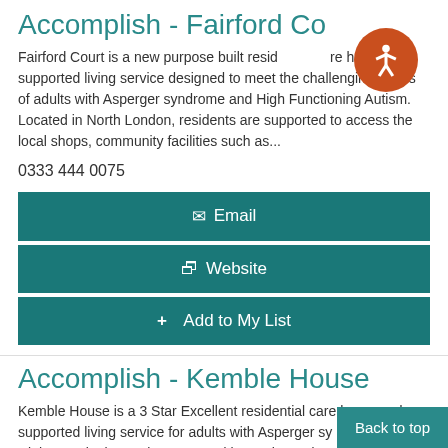Accomplish - Fairford Court
Fairford Court is a new purpose built residential care home and supported living service designed to meet the challenging needs of adults with Asperger syndrome and High Functioning Autism. Located in North London, residents are supported to access the local shops, community facilities such as...
0333 444 0075
Email
Website
+ Add to My List
Accomplish - Kemble House
Kemble House is a 3 Star Excellent residential care home and supported living service for adults with Asperger syndrome and High Functioning Autism. Located in North London,
Back to top